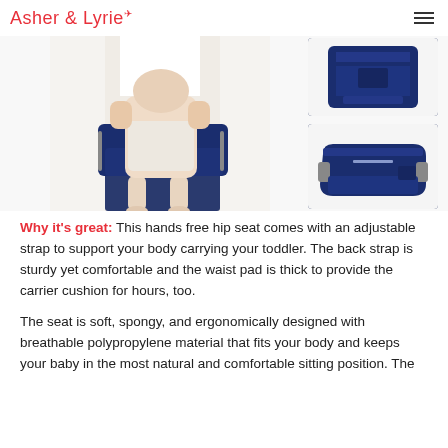Asher & Lyrie
[Figure (photo): A woman wearing a navy blue hip seat baby carrier, holding a baby/toddler on the hip seat. Two additional product photos on the right: one showing the folded carrier from the back (navy blue), and one showing the hip seat alone from the side (navy blue with gray accents).]
Why it's great: This hands free hip seat comes with an adjustable strap to support your body carrying your toddler. The back strap is sturdy yet comfortable and the waist pad is thick to provide the carrier cushion for hours, too.
The seat is soft, spongy, and ergonomically designed with breathable polypropylene material that fits your body and keeps your baby in the most natural and comfortable sitting position. The